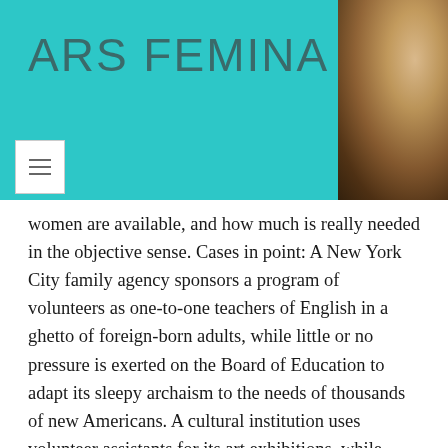ARS FEMINA
women are available, and how much is really needed in the objective sense. Cases in point: A New York City family agency sponsors a program of volunteers as one-to-one teachers of English in a ghetto of foreign-born adults, while little or no pressure is exerted on the Board of Education to adapt its sleepy archaism to the needs of thousands of new Americans. A cultural institution uses volunteer assistants for its art exhibitions, while simultaneously, art school graduates trained for similar tasks where state funds might be available go unhired. Six volunteers—four of them women—attempt to raise funds for a community narcotics